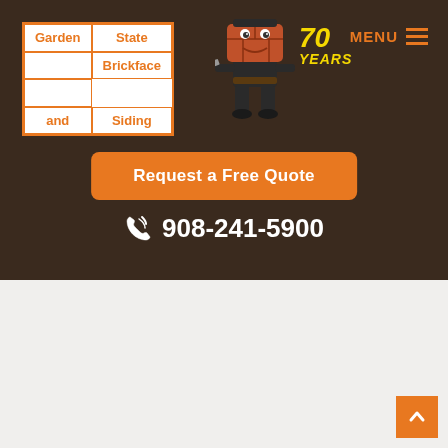[Figure (logo): Garden State Brickface and Siding company logo with orange bordered grid cells containing the company name, a brick mascot character, and '70 YEARS' text badge]
MENU
Request a Free Quote
908-241-5900
[Figure (illustration): Light gray content area with back-to-top orange button in bottom right corner]
^